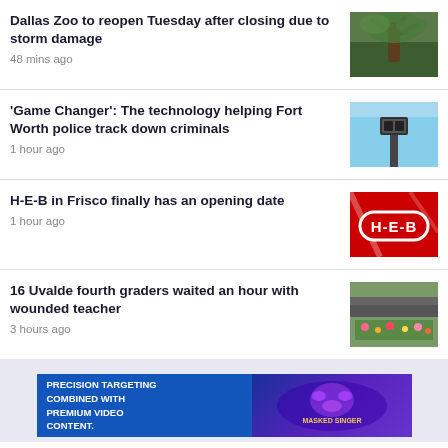Dallas Zoo to reopen Tuesday after closing due to storm damage
48 mins ago
[Figure (photo): Fallen tree with storm damage at Dallas Zoo]
'Game Changer': The technology helping Fort Worth police track down criminals
1 hour ago
[Figure (photo): Camera mounted on a pole against blue sky]
H-E-B in Frisco finally has an opening date
1 hour ago
[Figure (logo): H-E-B logo on red background]
16 Uvalde fourth graders waited an hour with wounded teacher
3 hours ago
[Figure (photo): Memorial site with flowers and items]
[Figure (infographic): Advertisement: PRECISION TARGETING COMBINED WITH PREMIUM VIDEO CONTENT. Shows Masked Singer branding.]